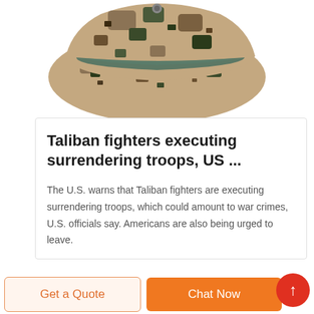[Figure (photo): A camouflage boonie/bucket hat with digital desert camo pattern and green/teal band, photographed from above on white background]
Taliban fighters executing surrendering troops, US ...
The U.S. warns that Taliban fighters are executing surrendering troops, which could amount to war crimes, U.S. officials say. Americans are also being urged to leave.